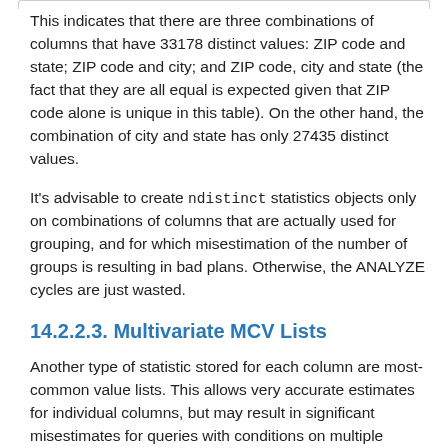This indicates that there are three combinations of columns that have 33178 distinct values: ZIP code and state; ZIP code and city; and ZIP code, city and state (the fact that they are all equal is expected given that ZIP code alone is unique in this table). On the other hand, the combination of city and state has only 27435 distinct values.
It's advisable to create ndistinct statistics objects only on combinations of columns that are actually used for grouping, and for which misestimation of the number of groups is resulting in bad plans. Otherwise, the ANALYZE cycles are just wasted.
14.2.2.3. Multivariate MCV Lists
Another type of statistic stored for each column are most-common value lists. This allows very accurate estimates for individual columns, but may result in significant misestimates for queries with conditions on multiple columns.